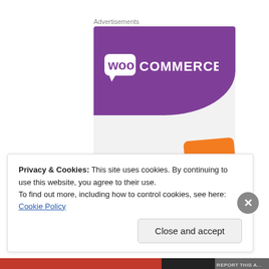Advertisements
[Figure (illustration): WooCommerce advertisement banner with purple background showing WooCommerce logo, an orange shape, and text 'How to start selling subscriptions online']
Privacy & Cookies: This site uses cookies. By continuing to use this website, you agree to their use.
To find out more, including how to control cookies, see here: Cookie Policy
Close and accept